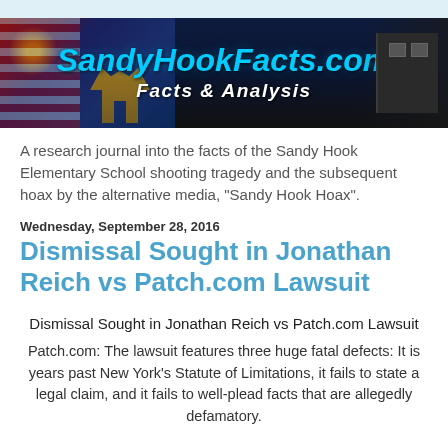[Figure (illustration): SandyHookFacts.com website banner with site title in cyan italic text, 'Facts & Analysis' subtitle, patriotic imagery on left, angel and memorial imagery in center, dark background]
A research journal into the facts of the Sandy Hook Elementary School shooting tragedy and the subsequent hoax by the alternative media, "Sandy Hook Hoax".
Wednesday, September 28, 2016
Dismissal Sought in Jonathan Reich vs Patch.com Lawsuit
Dismissal Sought in Jonathan Reich vs Patch.com Lawsuit
Patch.com: The lawsuit features three huge fatal defects: It is years past New York's Statute of Limitations, it fails to state a legal claim, and it fails to well-plead facts that are allegedly defamatory.